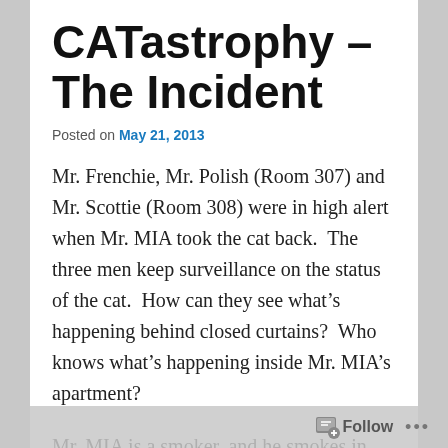CATastrophy – The Incident
Posted on May 21, 2013
Mr. Frenchie, Mr. Polish (Room 307) and Mr. Scottie (Room 308) were in high alert when Mr. MIA took the cat back.  The three men keep surveillance on the status of the cat.  How can they see what's happening behind closed curtains?  Who knows what's happening inside Mr. MIA's apartment?
Mr. MIA is a smoker, and he smokes in the balcony.  At the same time, he was trying to